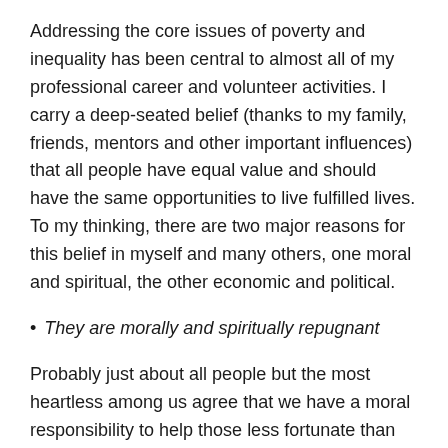Addressing the core issues of poverty and inequality has been central to almost all of my professional career and volunteer activities. I carry a deep-seated belief (thanks to my family, friends, mentors and other important influences) that all people have equal value and should have the same opportunities to live fulfilled lives. To my thinking, there are two major reasons for this belief in myself and many others, one moral and spiritual, the other economic and political.
They are morally and spiritually repugnant
Probably just about all people but the most heartless among us agree that we have a moral responsibility to help those less fortunate than ourselves. Giving to the poor and seeking social justice are common values across world religions and spiritual movements. Among many